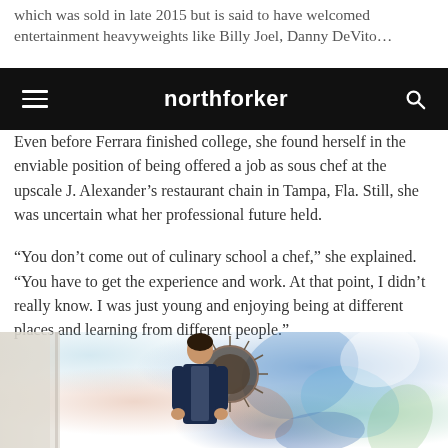which was sold in late 2015 but is said to have welcomed entertainment heavyweights like Billy Joel, Danny DeVito…
northforker
Even before Ferrara finished college, she found herself in the enviable position of being offered a job as sous chef at the upscale J. Alexander’s restaurant chain in Tampa, Fla. Still, she was uncertain what her professional future held.
“You don’t come out of culinary school a chef,” she explained. “You have to get the experience and work. At that point, I didn’t really know. I was just young and enjoying being at different places and learning from different people.”
[Figure (photo): A woman smiling and standing in front of a colorful floral/abstract wall mural with a decorative sunburst mirror behind her. She is wearing a navy vest over a patterned top.]